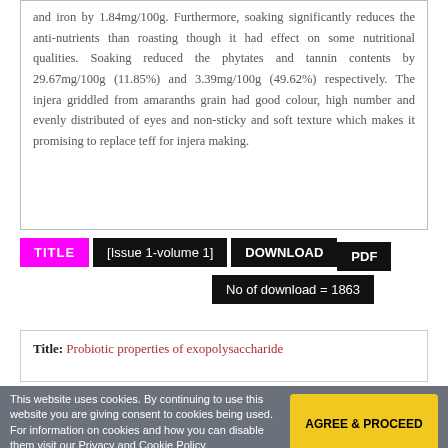and iron by 1.84mg/100g. Furthermore, soaking significantly reduces the anti-nutrients than roasting though it had effect on some nutritional qualities. Soaking reduced the phytates and tannin contents by 29.67mg/100g (11.85%) and 3.39mg/100g (49.62%) respectively. The injera griddled from amaranths grain had good colour, high number and evenly distributed of eyes and non-sticky and soft texture which makes it promising to replace teff for injera making.
TITLE  [Issue 1-volume 1]  DOWNLOAD PDF  No of download = 1863
Title: Probiotic properties of exopolysaccharide
This website uses cookies. By continuing to use this website you are giving consent to cookies being used. For information on cookies and how you can disable them visit our Privacy and Cookie Policy. More info  AGREE & PROCEED